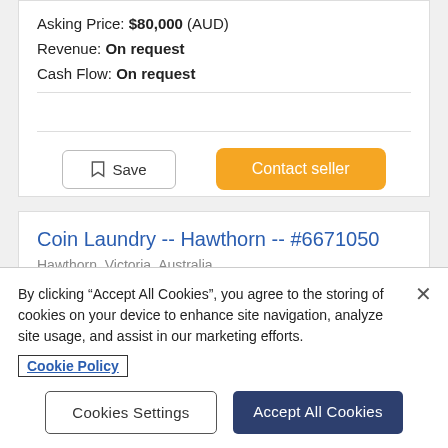Asking Price: $80,000 (AUD)
Revenue: On request
Cash Flow: On request
Save | Contact seller
Coin Laundry -- Hawthorn -- #6671050
Hawthorn, Victoria, Australia
By clicking "Accept All Cookies", you agree to the storing of cookies on your device to enhance site navigation, analyze site usage, and assist in our marketing efforts.
Cookie Policy
Cookies Settings | Accept All Cookies